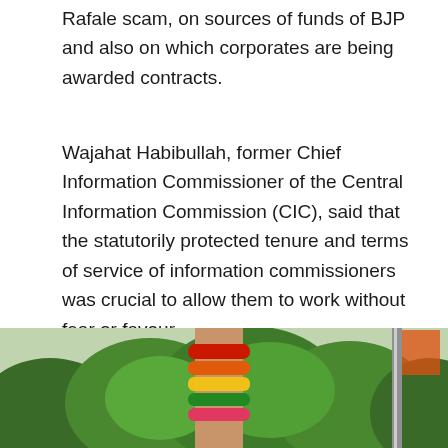Rafale scam, on sources of funds of BJP and also on which corporates are being awarded contracts.
Wajahat Habibullah, former Chief Information Commissioner of the Central Information Commission (CIC), said that the statutorily protected tenure and terms of service of information commissioners was crucial to allow them to work without fear or favour.
Anjali Bhardwaj and Nikhil Dey, co-convenors of the NCPRI, said that protests had been planned across the country and would be carried on everyday. They urged parties to demand that the RTI Amendment Bill be referred to a Parliamentary Committee to allow proper debate on it and also allow people to send their views.
[Figure (photo): A photo showing a person's wrist with colorful bangles/bracelets, with green trees in the background and a pole or flag visible on the right side.]